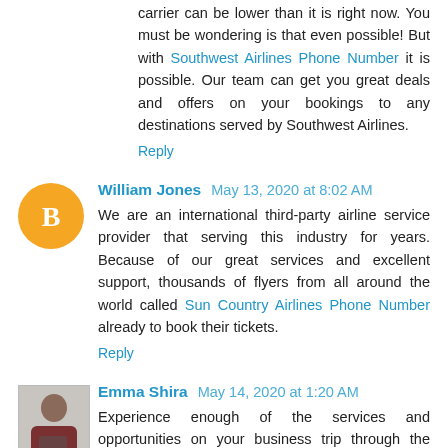carrier can be lower than it is right now. You must be wondering is that even possible! But with Southwest Airlines Phone Number it is possible. Our team can get you great deals and offers on your bookings to any destinations served by Southwest Airlines.
Reply
William Jones  May 13, 2020 at 8:02 AM
We are an international third-party airline service provider that serving this industry for years. Because of our great services and excellent support, thousands of flyers from all around the world called Sun Country Airlines Phone Number already to book their tickets.
Reply
Emma Shira  May 14, 2020 at 1:20 AM
Experience enough of the services and opportunities on your business trip through the Southwest Contact Number.